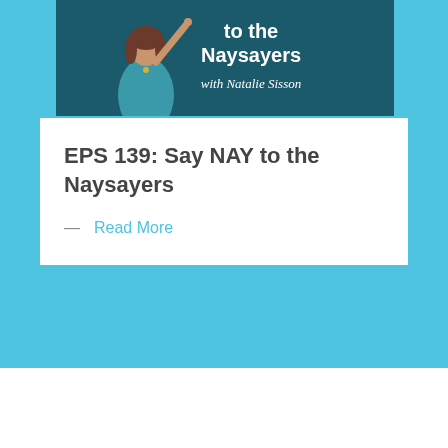[Figure (illustration): Podcast cover image for 'Say NAY to the Naysayers with Natalie Sisson' showing a woman in teal dress pointing upward against a dark teal background]
EPS 139: Say NAY to the Naysayers
Read More